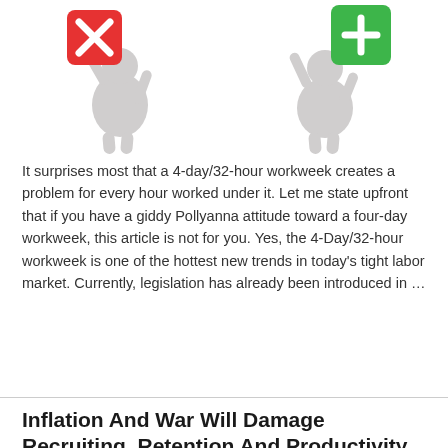[Figure (illustration): 3D character holding a red X block (minus/negative symbol)]
[Figure (illustration): 3D character holding a green plus block (plus/positive symbol)]
It surprises most that a 4-day/32-hour workweek creates a problem for every hour worked under it. Let me state upfront that if you have a giddy Pollyanna attitude toward a four-day workweek, this article is not for you. Yes, the 4-Day/32-hour workweek is one of the hottest new trends in today’s tight labor market. Currently, legislation has already been introduced in …
Read More »
Inflation And War Will Damage Recruiting, Retention And Productivity